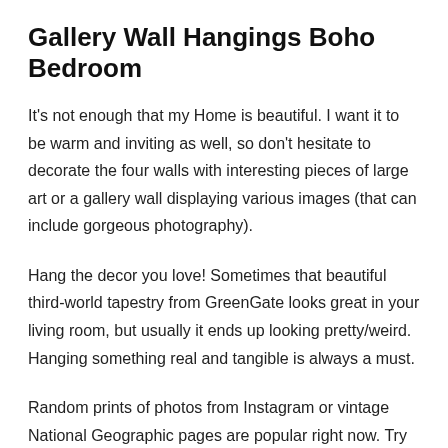Gallery Wall Hangings Boho Bedroom
It's not enough that my Home is beautiful. I want it to be warm and inviting as well, so don't hesitate to decorate the four walls with interesting pieces of large art or a gallery wall displaying various images (that can include gorgeous photography).
Hang the decor you love! Sometimes that beautiful third-world tapestry from GreenGate looks great in your living room, but usually it ends up looking pretty/weird. Hanging something real and tangible is always a must.
Random prints of photos from Instagram or vintage National Geographic pages are popular right now. Try pairing them with these vintage picture frames I got from